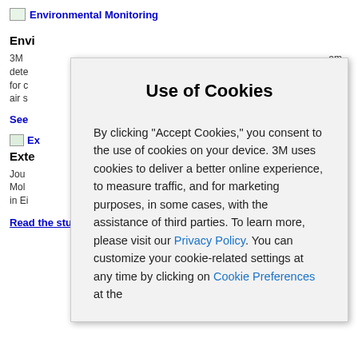Environmental Monitoring
Envi
3M dete for o air s
em as
See
[Figure (other): Small icon for external link]
Exte
Jou Mol in Ei eria
Read the study (PDF, 224 Kb)
Use of Cookies
By clicking "Accept Cookies," you consent to the use of cookies on your device. 3M uses cookies to deliver a better online experience, to measure traffic, and for marketing purposes, in some cases, with the assistance of third parties. To learn more, please visit our Privacy Policy. You can customize your cookie-related settings at any time by clicking on Cookie Preferences at the